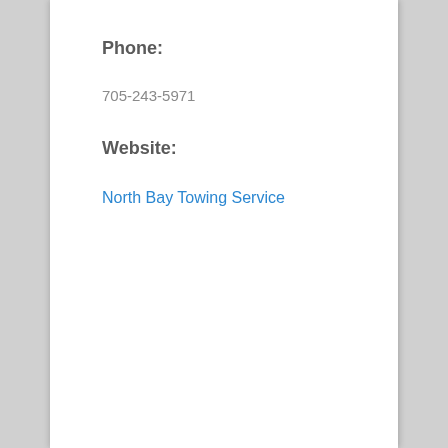Phone:
705-243-5971
Website:
North Bay Towing Service